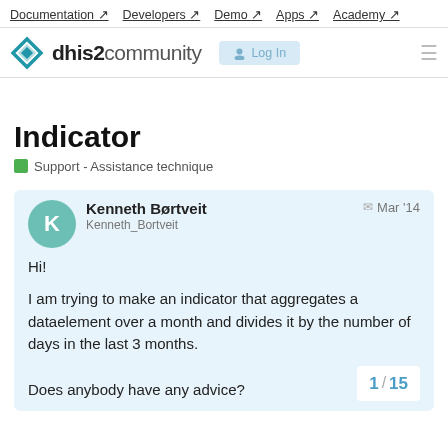Documentation ↗  Developers ↗  Demo ↗  Apps ↗  Academy ↗
[Figure (logo): dhis2 community logo with diamond icon, Log In button]
Indicator
Support - Assistance technique
Kenneth Børtveit
Kenneth_Bortveit
Mar '14

Hi!

I am trying to make an indicator that aggregates a dataelement over a month and divides it by the number of days in the last 3 months.

Does anybody have any advice?
1 / 15